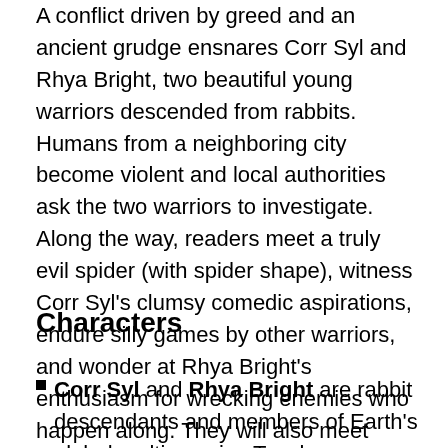A conflict driven by greed and an ancient grudge ensnares Corr Syl and Rhya Bright, two beautiful young warriors descended from rabbits. Humans from a neighboring city become violent and local authorities ask the two warriors to investigate. Along the way, readers meet a truly evil spider (with spider shape), witness Corr Syl's clumsy comedic aspirations, endure silly games by other warriors, and wonder at Rhya Bright's enthusiasm for wrecking enemies who happen along. They will also meet Z99, an intelligent warship whose quantum manipulations of dark energy allow travel through the multiverse.
Characters
Corr Syl and Rhya Bright are rabbit descendants and members of Earth's global multi-species Tsaeb